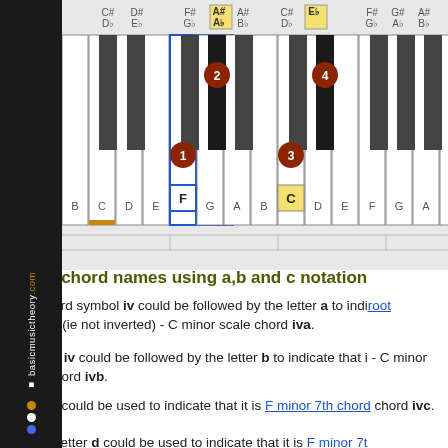[Figure (illustration): Piano keyboard diagram showing F minor chord with numbered finger positions. Keys F(1), Ab(2), C(3), Eb(4) are highlighted. Black keys labeled with sharp/flat names above. Sidebar reads basicmusictheory.com.]
Scale chord names using a,b and c notation
The chord symbol iv could be followed by the letter a to indicate root position (ie not inverted) - C minor scale chord iva.
Instead, iv could be followed by the letter b to indicate that it - C minor scale chord ivb.
Letter c could be used to indicate that it is F minor 7th chord chord ivc.
Finally, letter d could be used to indicate that it is F minor 7t